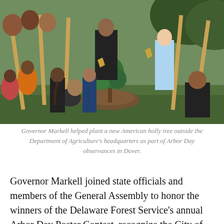[Figure (photo): Governor Markell and children planting an American holly tree outdoors, with adults and children holding shovels around a small tree being planted in soil, surrounded by grass and shrubs.]
Governor Markell helped plant a new American holly tree outside the Department of Agriculture's headquarters as part of Arbor Day observances in Dover.
Governor Markell joined state officials and members of the General Assembly to honor the winners of the Delaware Forest Service's annual Arbor Day Poster Contest, recognize the City of Dover as the First State's longest-running Tree City USA, and honor Delmarva Power as a Tree Line USA utility and for its volunteer work in underwriting the cost of Arbor Day observances throughout the state. The Forest Service also thanked the Governor for his continued support